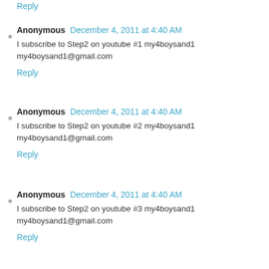Reply
Anonymous  December 4, 2011 at 4:40 AM
I subscribe to Step2 on youtube #1 my4boysand1 my4boysand1@gmail.com
Reply
Anonymous  December 4, 2011 at 4:40 AM
I subscribe to Step2 on youtube #2 my4boysand1 my4boysand1@gmail.com
Reply
Anonymous  December 4, 2011 at 4:40 AM
I subscribe to Step2 on youtube #3 my4boysand1 my4boysand1@gmail.com
Reply